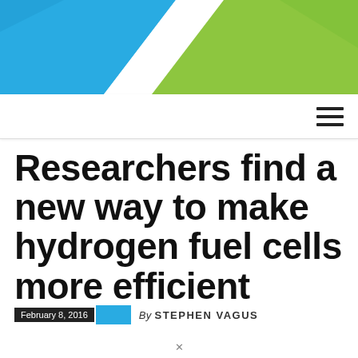[Figure (illustration): Decorative header graphic with blue and green diagonal color bands on white background]
[Figure (other): Navigation bar with hamburger menu icon (three horizontal lines) on white background]
Researchers find a new way to make hydrogen fuel cells more efficient
February 8, 2016  By STEPHEN VAGUS